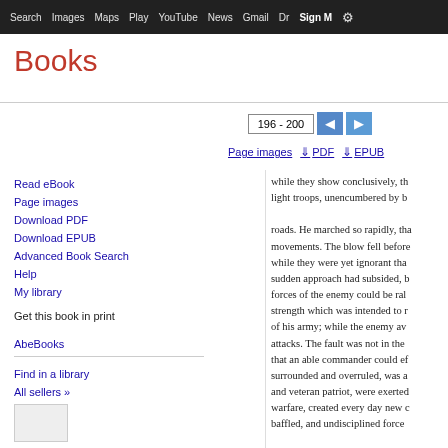Search  Images  Maps  Play  YouTube  News  Gmail  Drive  More  Sign in
Books
Read eBook
Page images
Download PDF
Download EPUB
Advanced Book Search
Help
My library
Get this book in print
AbeBooks
Find in a library
All sellers »
196 - 200
Page images   PDF   EPUB
while they show conclusively, th light troops, unencumbered by b roads. He marched so rapidly, th movements. The blow fell before while they were yet ignorant tha sudden approach had subsided, b forces of the enemy could be ral strength which was intended to r of his army; while the enemy av attacks. The fault was not in the that an able commander could ef surrounded and overruled, was a and veteran patriot, were exerted warfare, created every day new c baffled, and undisciplined force